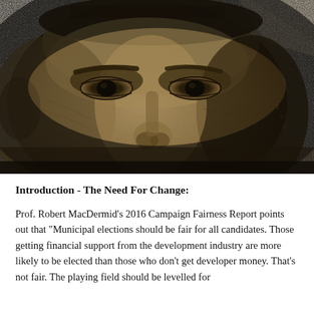[Figure (photo): Close-up macro photograph of Benjamin Franklin's face on a US $100 bill, showing detailed engraving of his eyes, forehead, and nose against a dark sepia-toned background.]
Introduction - The Need For Change:
Prof. Robert MacDermid’s 2016 Campaign Fairness Report points out that “Municipal elections should be fair for all candidates. Those getting financial support from the development industry are more likely to be elected than those who don’t get developer money. That’s not fair. The playing field should be levelled for